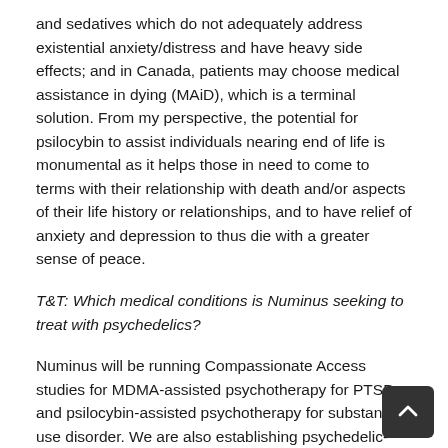and sedatives which do not adequately address existential anxiety/distress and have heavy side effects; and in Canada, patients may choose medical assistance in dying (MAiD), which is a terminal solution. From my perspective, the potential for psilocybin to assist individuals nearing end of life is monumental as it helps those in need to come to terms with their relationship with death and/or aspects of their life history or relationships, and to have relief of anxiety and depression to thus die with a greater sense of peace.
T&T: Which medical conditions is Numinus seeking to treat with psychedelics?
Numinus will be running Compassionate Access studies for MDMA-assisted psychotherapy for PTSD     and psilocybin-assisted psychotherapy for substance use disorder. We are also establishing psychedelic-assisted psychotherapy protocols with ketamine and psilocybin for depression and anxiety. We also anticipate that we will support patients with Special Access Programme